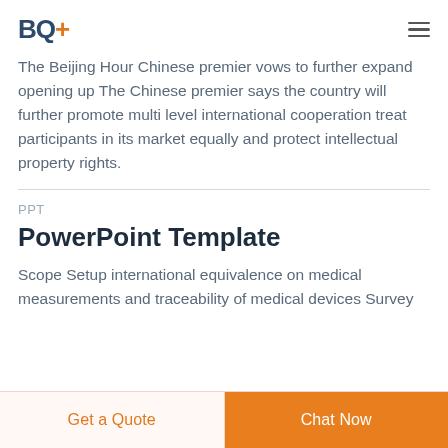BQ+
The Beijing Hour Chinese premier vows to further expand opening up The Chinese premier says the country will further promote multi level international cooperation treat participants in its market equally and protect intellectual property rights.
PPT
PowerPoint Template
Scope Setup international equivalence on medical measurements and traceability of medical devices Survey